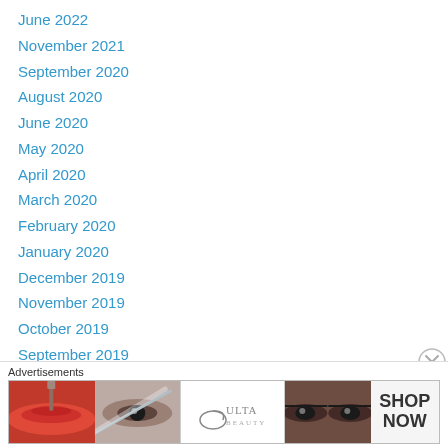June 2022
November 2021
September 2020
August 2020
June 2020
May 2020
April 2020
March 2020
February 2020
January 2020
December 2019
November 2019
October 2019
September 2019
August 2019
July 2019
[Figure (photo): Ulta Beauty advertisement banner showing makeup images (lips with brush, eye with makeup, Ulta Beauty logo, smoky eyes) and SHOP NOW call to action]